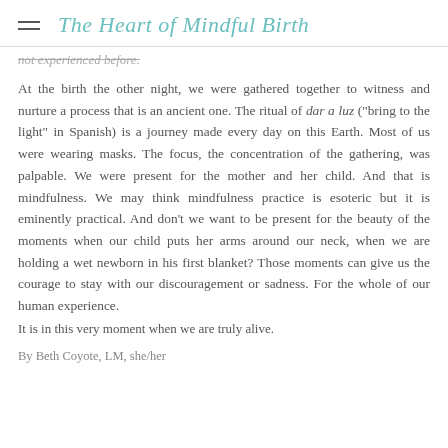The Heart of Mindful Birth
not experienced before.
At the birth the other night, we were gathered together to witness and nurture a process that is an ancient one. The ritual of dar a luz ("bring to the light" in Spanish) is a journey made every day on this Earth. Most of us were wearing masks. The focus, the concentration of the gathering, was palpable. We were present for the mother and her child. And that is mindfulness. We may think mindfulness practice is esoteric but it is eminently practical. And don't we want to be present for the beauty of the moments when our child puts her arms around our neck, when we are holding a wet newborn in his first blanket? Those moments can give us the courage to stay with our discouragement or sadness. For the whole of our human experience.
It is in this very moment when we are truly alive.
By Beth Coyote, LM, she/her